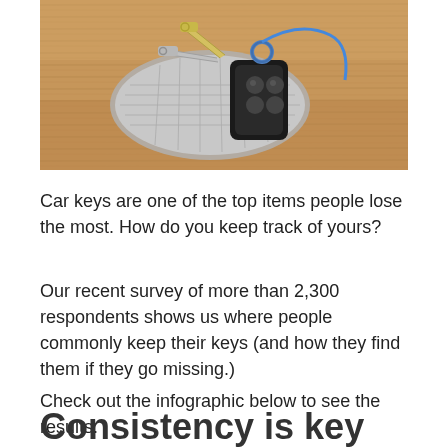[Figure (photo): A close-up photo of car keys and a key fob resting in a metallic grid-pattern tray or bowl, placed on a wooden surface.]
Car keys are one of the top items people lose the most. How do you keep track of yours?
Our recent survey of more than 2,300 respondents shows us where people commonly keep their keys (and how they find them if they go missing.)
Check out the infographic below to see the results.
Consistency is key